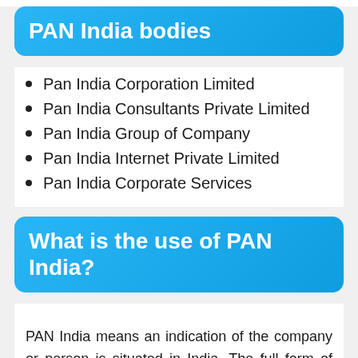PAN India bodies
Pan India Corporation Limited
Pan India Consultants Private Limited
Pan India Group of Company
Pan India Internet Private Limited
Pan India Corporate Services
What is the use of PAN India?
PAN India means an indication of the company or person is situated in India. The full form of PAN is Presence Across Nation itself shows what is the meaning of PAN India. It simply means the person has a